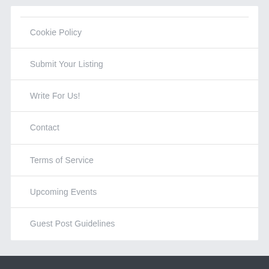Cookie Policy
Submit Your Listing
Write For Us!
Contact
Terms of Service
Upcoming Events
Guest Post Guidelines